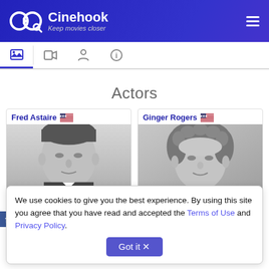Cinehook — Keep movies closer
[Figure (screenshot): Navigation tab bar with image, video, person, and info icons]
Actors
[Figure (photo): Fred Astaire — black and white headshot photo with US flag]
[Figure (photo): Ginger Rogers — black and white headshot photo with US flag]
We use cookies to give you the best experience. By using this site you agree that you have read and accepted the Terms of Use and Privacy Policy.